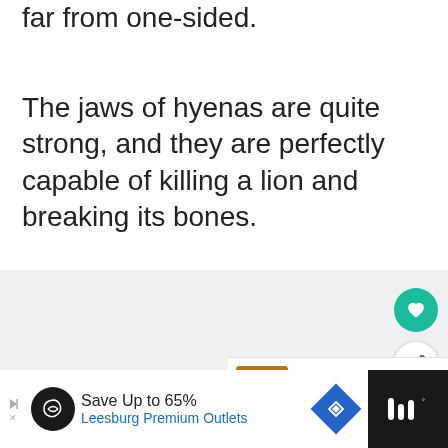The fight between a lion and a hyena is far from one-sided.
The jaws of hyenas are quite strong, and they are perfectly capable of killing a lion and breaking its bones.
[Figure (other): Gray placeholder image area with a teal like button (heart icon), a white share button, and a 'What's Next' panel showing a lion thumbnail image with the text 'Do Lions Eat Hyenas?']
[Figure (other): Advertisement bar at bottom: Save Up to 65% Leesburg Premium Outlets, with a black circular logo, blue diamond direction icon, and black section on the right.]